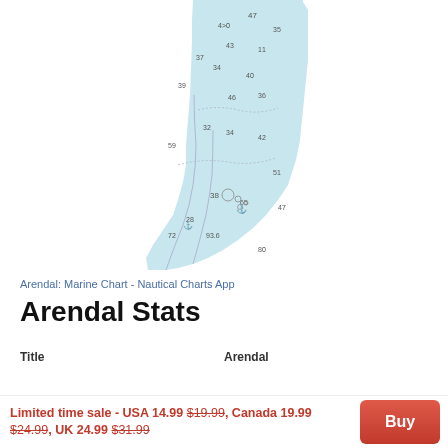[Figure (map): Nautical chart map of Arendal area showing depth soundings, coastline, and water features in light blue with depth numbers]
Arendal: Marine Chart - Nautical Charts App
Arendal Stats
Title
Arendal
Limited time sale - USA 14.99 $19.99, Canada 19.99 $24.99, UK 24.99 $31.99